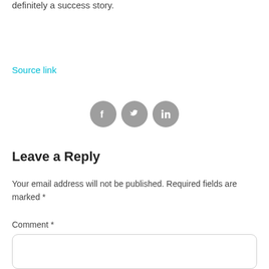definitely a success story.
Source link
[Figure (other): Three social media icons: Facebook, Twitter, LinkedIn — grey circles with white icons]
Leave a Reply
Your email address will not be published. Required fields are marked *
Comment *
[Figure (other): Comment text area input box with rounded corners]